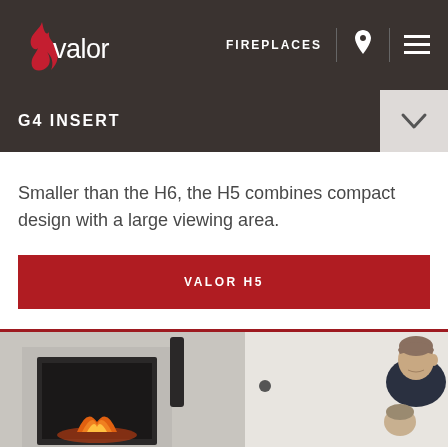[Figure (logo): Valor fireplace brand logo - red flame with white 'valor' text on dark background header]
FIREPLACES
G4 INSERT
Smaller than the H6, the H5 combines compact design with a large viewing area.
VALOR H5
[Figure (photo): Left: fireplace insert installed in white stone wall with decorative vase. Right: man looking down at child, indoor setting.]